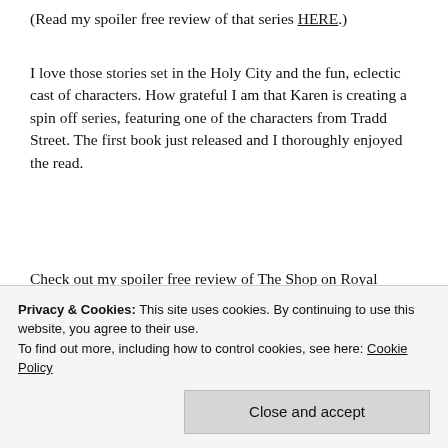(Read my spoiler free review of that series HERE.)
I love those stories set in the Holy City and the fun, eclectic cast of characters. How grateful I am that Karen is creating a spin off series, featuring one of the characters from Tradd Street. The first book just released and I thoroughly enjoyed the read.
Check out my spoiler free review of The Shop on Royal Street.
[Figure (other): Dark blue banner with text 'BOOK REVIEW' partially visible]
Privacy & Cookies: This site uses cookies. By continuing to use this website, you agree to their use.
To find out more, including how to control cookies, see here: Cookie Policy